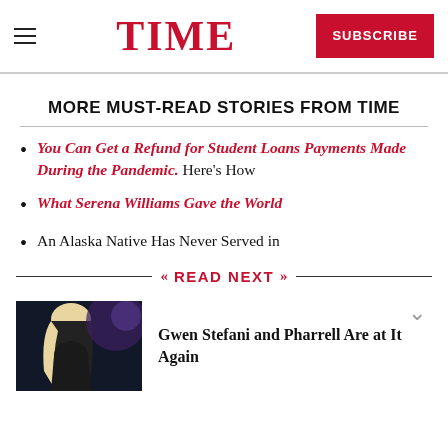TIME  SUBSCRIBE
MORE MUST-READ STORIES FROM TIME
You Can Get a Refund for Student Loans Payments Made During the Pandemic. Here's How
What Serena Williams Gave the World
An Alaska Native Has Never Served in
READ NEXT
Gwen Stefani and Pharrell Are at It Again